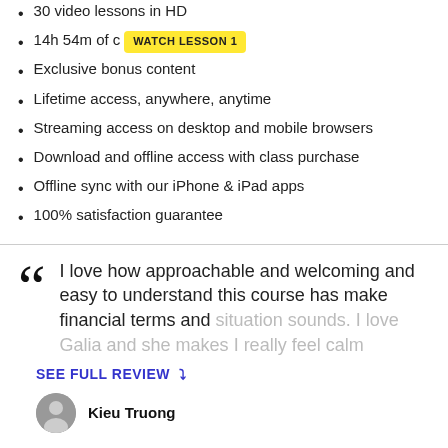30 video lessons in HD
14h 54m of content  [WATCH LESSON 1 button]
Exclusive bonus content
Lifetime access, anywhere, anytime
Streaming access on desktop and mobile browsers
Download and offline access with class purchase
Offline sync with our iPhone & iPad apps
100% satisfaction guarantee
“I love how approachable and welcoming and easy to understand this course has make financial terms and situation sounds. I love Galia and she makes I really feel calm
SEE FULL REVIEW
Kieu Truong